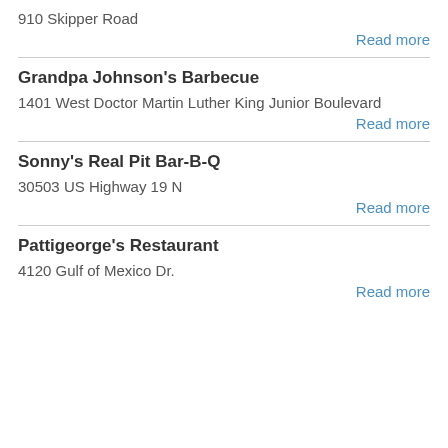910 Skipper Road
Read more
Grandpa Johnson's Barbecue
1401 West Doctor Martin Luther King Junior Boulevard
Read more
Sonny's Real Pit Bar-B-Q
30503 US Highway 19 N
Read more
Pattigeorge's Restaurant
4120 Gulf of Mexico Dr.
Read more